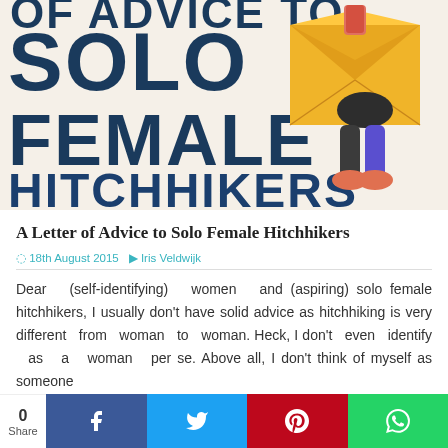[Figure (illustration): Blog header image showing large text 'OF ADVICE TO SOLO FEMALE HITCHHIKERS' in dark blue/teal with a cartoon woman carrying a large yellow envelope]
A Letter of Advice to Solo Female Hitchhikers
18th August 2015  Iris Veldwijk
Dear (self-identifying) women and (aspiring) solo female hitchhikers, I usually don't have solid advice as hitchhiking is very different from woman to woman. Heck, I don't even identify as a woman per se. Above all, I don't think of myself as someone the
0 Share